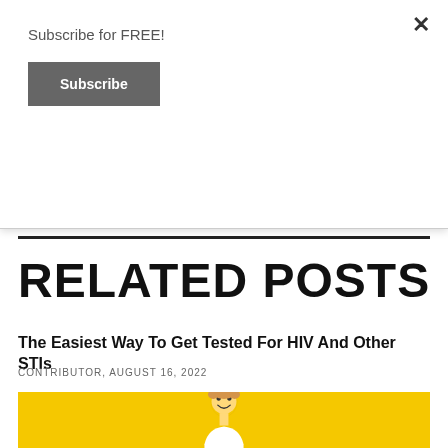Subscribe for FREE!
Subscribe
Sydney Star Observer.
RELATED POSTS
The Easiest Way To Get Tested For HIV And Other STIs
CONTRIBUTOR, AUGUST 16, 2022
[Figure (photo): Man smiling on yellow background]